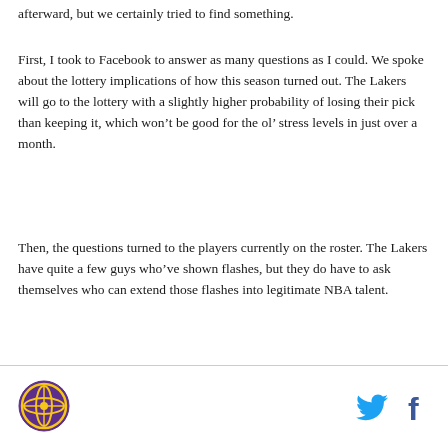afterward, but we certainly tried to find something.
First, I took to Facebook to answer as many questions as I could. We spoke about the lottery implications of how this season turned out. The Lakers will go to the lottery with a slightly higher probability of losing their pick than keeping it, which won't be good for the ol' stress levels in just over a month.
Then, the questions turned to the players currently on the roster. The Lakers have quite a few guys who've shown flashes, but they do have to ask themselves who can extend those flashes into legitimate NBA talent.
Logo and social share icons